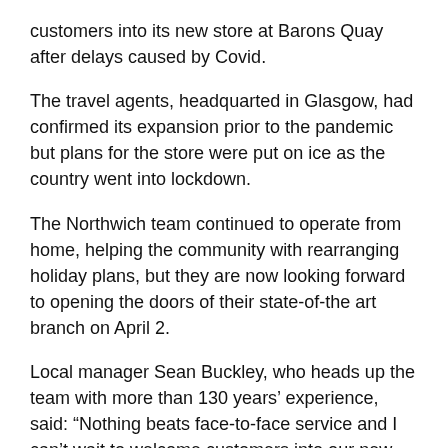customers into its new store at Barons Quay after delays caused by Covid.
The travel agents, headquarted in Glasgow, had confirmed its expansion prior to the pandemic but plans for the store were put on ice as the country went into lockdown.
The Northwich team continued to operate from home, helping the community with rearranging holiday plans, but they are now looking forward to opening the doors of their state-of-the art branch on April 2.
Local manager Sean Buckley, who heads up the team with more than 130 years' experience, said: “Nothing beats face-to-face service and I can’t wait to welcome customers into our new store.